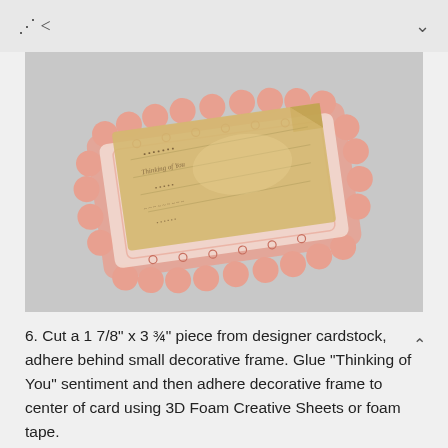< share   ∨
[Figure (photo): A decorative craft card featuring a pink/salmon ornate lace doily frame with scrollwork border, layered with a vintage-style aged parchment card with cursive writing, displayed at a slight angle on a gray background.]
6. Cut a 1 7/8" x 3 ¾" piece from designer cardstock, adhere behind small decorative frame. Glue "Thinking of You" sentiment and then adhere decorative frame to center of card using 3D Foam Creative Sheets or foam tape.